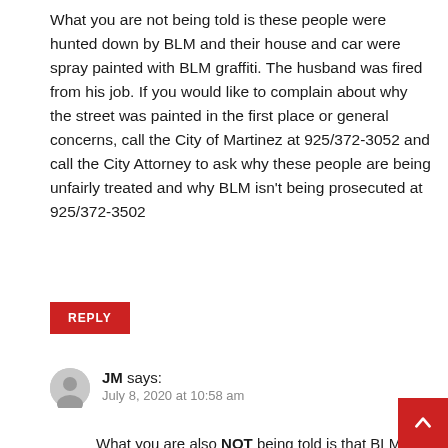What you are not being told is these people were hunted down by BLM and their house and car were spray painted with BLM graffiti. The husband was fired from his job. If you would like to complain about why the street was painted in the first place or general concerns, call the City of Martinez at 925/372-3052 and call the City Attorney to ask why these people are being unfairly treated and why BLM isn't being prosecuted at 925/372-3502
REPLY
JM says: July 8, 2020 at 10:58 am
What you are also NOT being told is that BLM supporters violently terrorized an entire neighborhood looking for these two. A neighborhood which, up until now, had children playing in the VERY SAFE streets on a daily basis. This behavior by BLM supporters does nothing to garner support for their mission. To the contrary, it drives a further rift